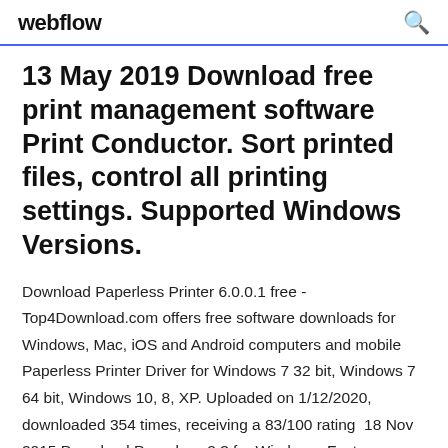webflow
13 May 2019 Download free print management software Print Conductor. Sort printed files, control all printing settings. Supported Windows Versions.
Download Paperless Printer 6.0.0.1 free - Top4Download.com offers free software downloads for Windows, Mac, iOS and Android computers and mobile  Paperless Printer Driver for Windows 7 32 bit, Windows 7 64 bit, Windows 10, 8, XP. Uploaded on 1/12/2020, downloaded 354 times, receiving a 83/100 rating  18 Nov 2015 Download Paperless 2.3 for Windows. Fast download of the latest free